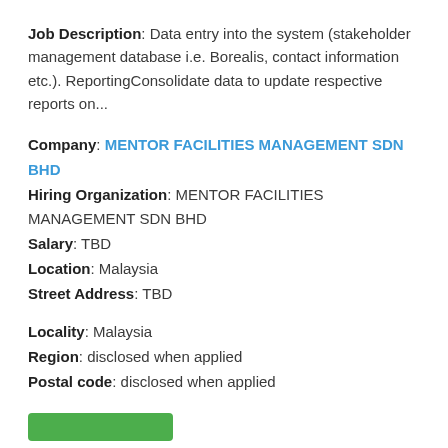Job Description: Data entry into the system (stakeholder management database i.e. Borealis, contact information etc.). ReportingConsolidate data to update respective reports on...
Company: MENTOR FACILITIES MANAGEMENT SDN BHD
Hiring Organization: MENTOR FACILITIES MANAGEMENT SDN BHD
Salary: TBD
Location: Malaysia
Street Address: TBD
Locality: Malaysia
Region: disclosed when applied
Postal code: disclosed when applied
[Figure (other): Green button/bar element]